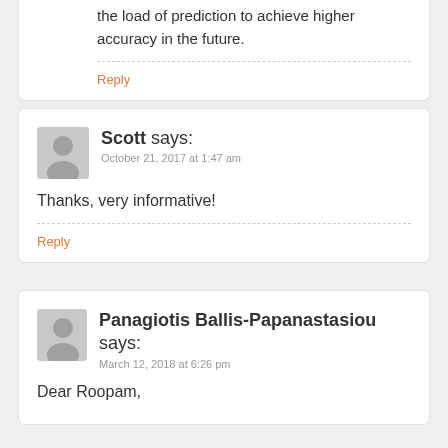the load of prediction to achieve higher accuracy in the future.
Reply
Scott says:
October 21, 2017 at 1:47 am
Thanks, very informative!
Reply
Panagiotis Ballis-Papanastasiou says:
March 12, 2018 at 6:26 pm
Dear Roopam,